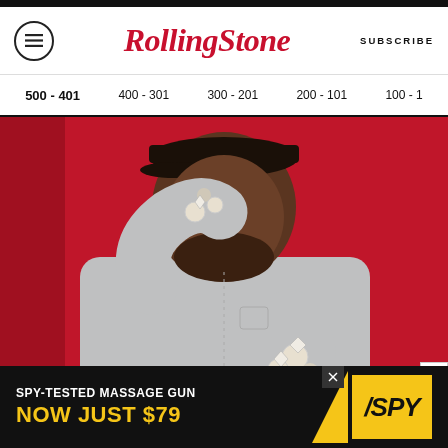Rolling Stone
SUBSCRIBE
500 - 401
400 - 301
300 - 201
200 - 101
100 - 1
[Figure (photo): A large man in a light grey outfit wearing ornate diamond rings, posed against a red background, holding rings up near his face]
400
SPY-TESTED MASSAGE GUN NOW JUST $79 SPY